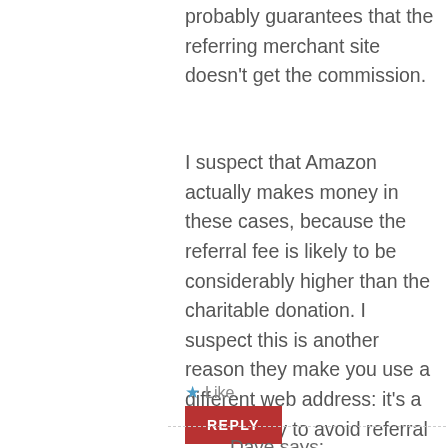probably guarantees that the referring merchant site doesn't get the commission.
I suspect that Amazon actually makes money in these cases, because the referral fee is likely to be considerably higher than the charitable donation. I suspect this is another reason they make you use a different web address: it's a sneaky way to avoid referral fees.
★ Like
REPLY
Dave says: